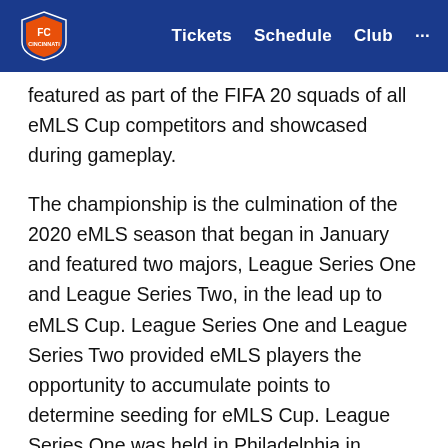FC Cincinnati | Tickets  Schedule  Club  ...
featured as part of the FIFA 20 squads of all eMLS Cup competitors and showcased during gameplay.
The championship is the culmination of the 2020 eMLS season that began in January and featured two majors, League Series One and League Series Two, in the lead up to eMLS Cup. League Series One and League Series Two provided eMLS players the opportunity to accumulate points to determine seeding for eMLS Cup. League Series One was held in Philadelphia in conjunction with the Union and League Series Two in Portland in conjunction with the Timbers.
The 2020 eMLS season featured 25 eMLS players...